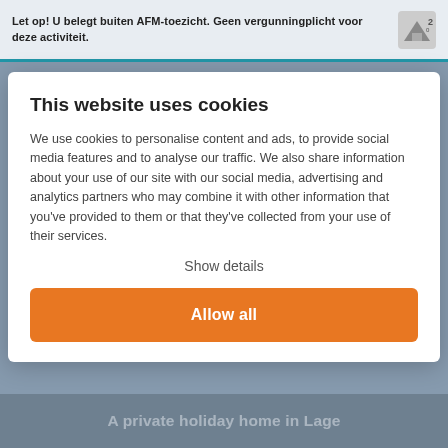Let op! U belegt buiten AFM-toezicht. Geen vergunningplicht voor deze activiteit.
This website uses cookies
We use cookies to personalise content and ads, to provide social media features and to analyse our traffic. We also share information about your use of our site with our social media, advertising and analytics partners who may combine it with other information that you’ve provided to them or that they’ve collected from your use of their services.
Show details
Allow all
A private holiday home in Lage